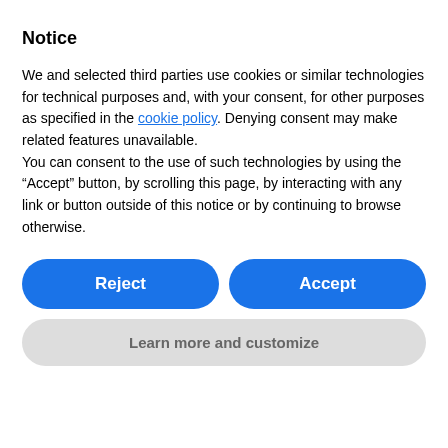Notice
We and selected third parties use cookies or similar technologies for technical purposes and, with your consent, for other purposes as specified in the cookie policy. Denying consent may make related features unavailable.
You can consent to the use of such technologies by using the “Accept” button, by scrolling this page, by interacting with any link or button outside of this notice or by continuing to browse otherwise.
Reject
Accept
Learn more and customize
reinforcement tools, our approach is designed to embed habits and behaviors into the